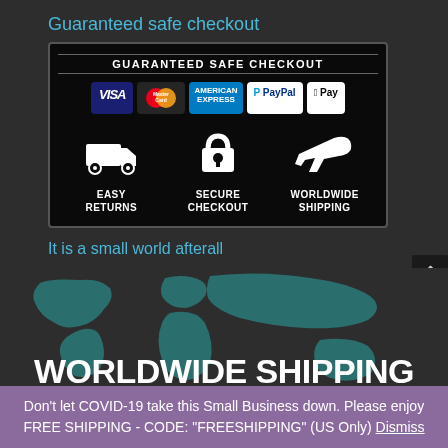Guaranteed safe checkout
[Figure (infographic): Guaranteed Safe Checkout banner showing payment logos (VISA, MasterCard, American Express, PayPal, Apple Pay) and icons for Easy Returns, Secure Checkout, and Worldwide Shipping on a black background.]
It is a small world afterall
[Figure (illustration): World map illustration in teal/dark teal color on dark background with WORLDWIDE SHIPPING text overlaid.]
Don't let COVID-19 take this Small Business down. Please enjoy FREE SHIPPING - CODE: "FREESHIPPING" (US Only) Dismiss